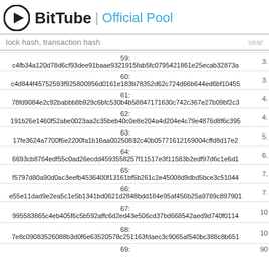BitTube | Official Pool
lock hash, transaction hash  search
| # | Hash | Value |
| --- | --- | --- |
| 59: | c4fb34a120d78d6cf93dee91baae9321915fab5fc0795421861e25ecab32873a | 3. |
| 60: | c4d844f45752593f925800956d0161e183b78352d62c724d66b644ed6bf10455 | 3. |
| 61: | 78fd9084e2c92babbb8b929c6bfc530b4b58847171630c742c367e27b09bf2c3 | 4. |
| 62: | 191b26e1460f52abe0023aa2c35beb40c0e8e204a4d204e4c79e4876d8f6c395 | 4. |
| 63: | 17fe3624a7700f6e2200fa1b16aa00250832c40b05771612169004cffd8d17e2 | 5. |
| 64: | 6693cb8764edf55c0ad26ecdd4593558257f11517e3f11583b2edf97d6c1e6d1 | 6. |
| 65: | f5797d80a90d0ac3eefb4536400f13161bf5b261c2e45008d9dbd5bce3c51044 | 7. |
| 66: | e55e11dad9e2ea5c1e5b1341bd0621d2848bdd184e95af456b25a9789c897901 | 7. |
| 67: | 995583865c4eb405f6c5b592affc6d2ed43e506cd37bd668542aed9d740f0114 | 10 |
| 68: | 7e8c09083526088b3d0f6e63520578c251163fdaec3c9065af540bc388c8b651 | 10 |
| 69: |  | 90 |